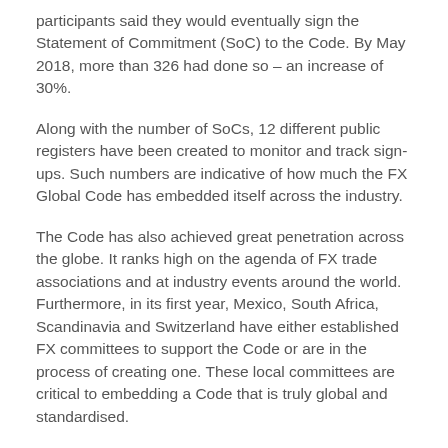participants said they would eventually sign the Statement of Commitment (SoC) to the Code. By May 2018, more than 326 had done so – an increase of 30%.
Along with the number of SoCs, 12 different public registers have been created to monitor and track sign-ups. Such numbers are indicative of how much the FX Global Code has embedded itself across the industry.
The Code has also achieved great penetration across the globe. It ranks high on the agenda of FX trade associations and at industry events around the world. Furthermore, in its first year, Mexico, South Africa, Scandinavia and Switzerland have either established FX committees to support the Code or are in the process of creating one. These local committees are critical to embedding a Code that is truly global and standardised.